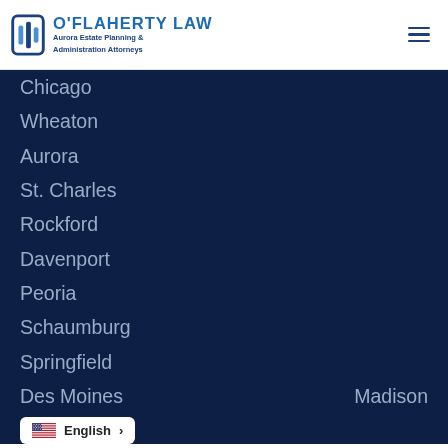O'Flaherty Law — Aurora Estate Planning & Administration Attorneys
Chicago
Wheaton
Aurora
St. Charles
Rockford
Davenport
Peoria
Schaumburg
Springfield
Des Moines
Madison
English